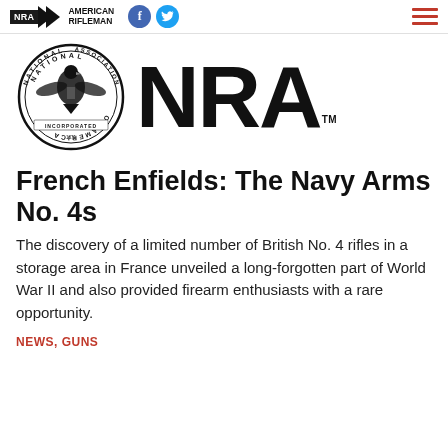NRA American Rifleman
[Figure (logo): NRA American Rifleman logo with circular NRA seal and large NRA text with TM mark]
French Enfields: The Navy Arms No. 4s
The discovery of a limited number of British No. 4 rifles in a storage area in France unveiled a long-forgotten part of World War II and also provided firearm enthusiasts with a rare opportunity.
NEWS, GUNS